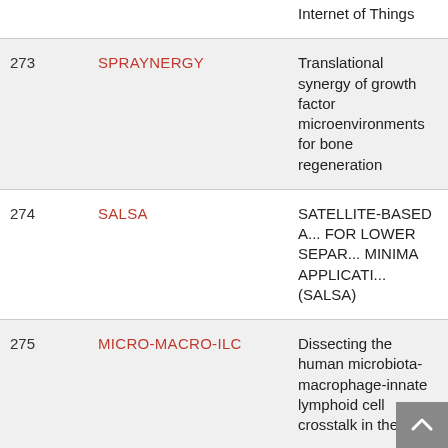| # | Acronym | Title |
| --- | --- | --- |
|  |  | Internet of Things |
| 273 | SPRAYNERGY | Translational synergy of growth factor microenvironments for bone regeneration |
| 274 | SALSA | SATELLITE-BASED A... FOR LOWER SEPAR... MINIMA APPLICATI... (SALSA) |
| 275 | MICRO-MACRO-ILC | Dissecting the human microbiota-macrophage-innate lymphoid cell crosstalk in the lung |
| 276 | MagNem | Hydrodynamics of Ferromagnetic Nematic Liquid Crystals |
| 277 | GSAORI | Guide Stars Adaptiv... |